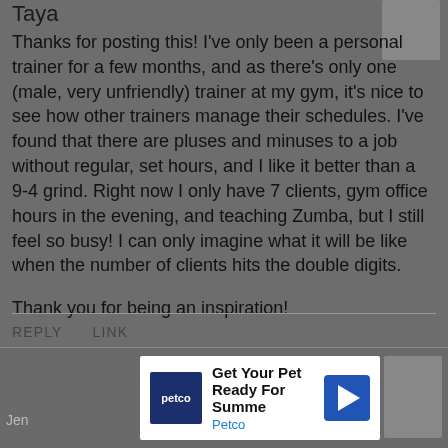Taya
Thanks for posting this! I've only been a personal trainer for a few months, and as there's only one (male, very unfriendly) trainer at my gym, it's nice to see how other trainers manage their schedules. I've found that there are pluses and minuses to a job without regular, set hours, and I like it better than a 9-4 grind. Right now I only have 7 clients, gym office hours in the evening, and teaching Zumba, but I still feel so busy! I can only imagine what it will be like when the number of clients hits the double digits.
Thank you for being an inspiration!
REPLY   LINK
[Figure (infographic): Petco advertisement banner: Get Your Pet Ready For Summer - Petco]
Jen